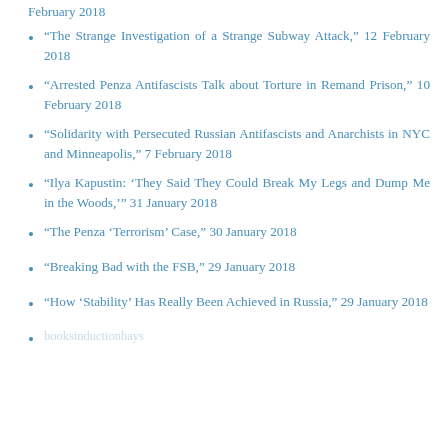February 2018 [partial, top of page]
“The Strange Investigation of a Strange Subway Attack,” 12 February 2018
“Arrested Penza Antifascists Talk about Torture in Remand Prison,” 10 February 2018
“Solidarity with Persecuted Russian Antifascists and Anarchists in NYC and Minneapolis,” 7 February 2018
“Ilya Kapustin: ‘They Said They Could Break My Legs and Dump Me in the Woods,’” 31 January 2018
“The Penza ‘Terrorism’ Case,” 30 January 2018
“Breaking Bad with the FSB,” 29 January 2018
“How ‘Stability’ Has Really Been Achieved in Russia,” 29 January 2018
booksinductionbays [partial, bottom of page]